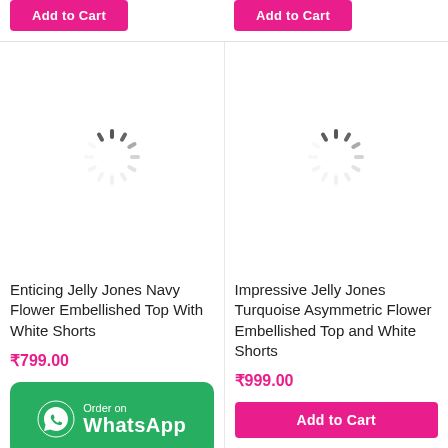[Figure (screenshot): Add to Cart pink button (top left product)]
[Figure (screenshot): Add to Cart pink button (top right product)]
[Figure (screenshot): Loading spinner for left product image]
[Figure (screenshot): Loading spinner for right product image]
Enticing Jelly Jones Navy Flower Embellished Top With White Shorts
₹799.00
[Figure (screenshot): Order on WhatsApp green button]
Impressive Jelly Jones Turquoise Asymmetric Flower Embellished Top and White Shorts
₹999.00
[Figure (screenshot): Add to Cart pink button (bottom right product)]